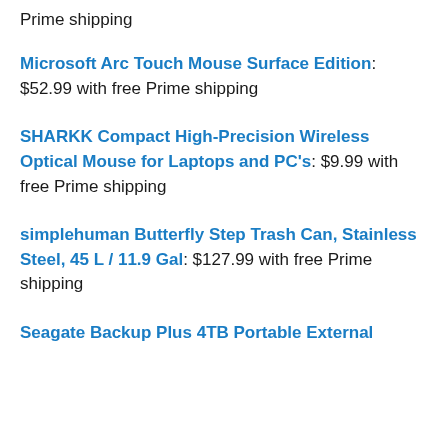Prime shipping
Microsoft Arc Touch Mouse Surface Edition: $52.99 with free Prime shipping
SHARKK Compact High-Precision Wireless Optical Mouse for Laptops and PC's: $9.99 with free Prime shipping
simplehuman Butterfly Step Trash Can, Stainless Steel, 45 L / 11.9 Gal: $127.99 with free Prime shipping
Seagate Backup Plus 4TB Portable External